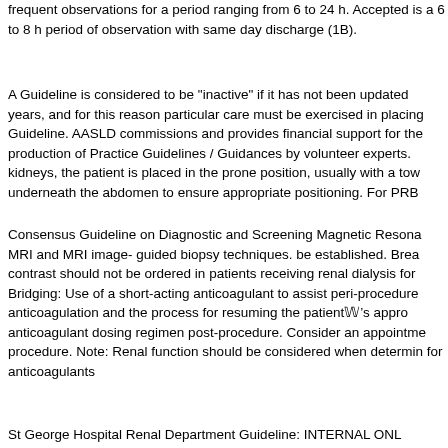frequent observations for a period ranging from 6 to 24 h. Accepted is a 6 to 8 h period of observation with same day discharge (1B).
A Guideline is considered to be "inactive" if it has not been updated years, and for this reason particular care must be exercised in placing Guideline. AASLD commissions and provides financial support for the production of Practice Guidelines / Guidances by volunteer experts. kidneys, the patient is placed in the prone position, usually with a tow underneath the abdomen to ensure appropriate positioning. For PRB
Consensus Guideline on Diagnostic and Screening Magnetic Resona MRI and MRI image- guided biopsy techniques. be established. Brea contrast should not be ordered in patients receiving renal dialysis for Bridging: Use of a short-acting anticoagulant to assist peri-procedure anticoagulation and the process for resuming the patient’s appro anticoagulant dosing regimen post-procedure. Consider an appointme procedure. Note: Renal function should be considered when determin for anticoagulants
St George Hospital Renal Department Guideline: INTERNAL ONL